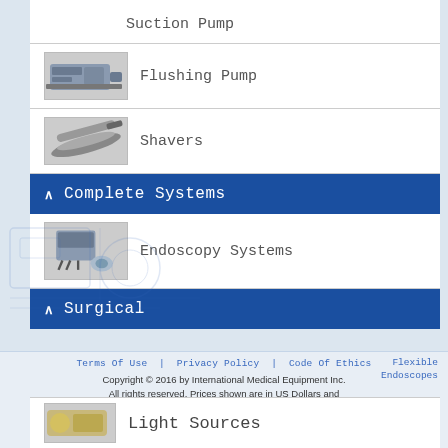Suction Pump
Flushing Pump
Shavers
Complete Systems
Endoscopy Systems
Surgical
Light Sources
Terms Of Use  Privacy Policy  Code Of Ethics  Flexible Endoscopes
Copyright © 2016 by International Medical Equipment Inc. All rights reserved. Prices shown are in US Dollars and are subject to change without notice. All orders are subject to the Terms of Use. Powered by KNM Software, Inc.